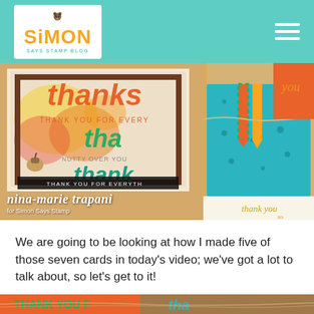Simon Says Stamp Blog - navigation header with logo and hamburger menu
[Figure (photo): Collage of handmade thank-you cards featuring autumn/fall themes with text 'thanks' in orange, green, and brown. Cards include plaid ribbon, teal floral patterns, acorns, and watercolor backgrounds. Credit text reads: nina-marie trapani for Simon Says Stamp]
We are going to be looking at how I made five of those seven cards in today’s video; we’ve got a lot to talk about, so let’s get to it!
[Figure (photo): Partial bottom strip showing close-up of thank-you cards with green 'THANK YOU' text and autumn decorations on wooden surface background]